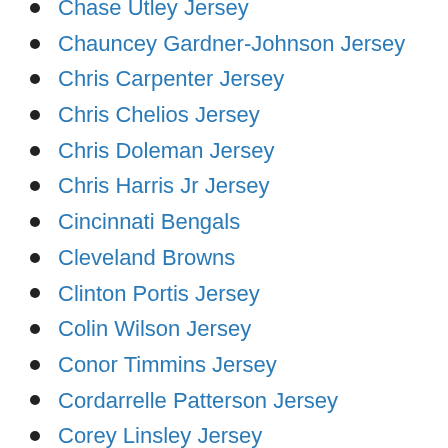Chase Utley Jersey
Chauncey Gardner-Johnson Jersey
Chris Carpenter Jersey
Chris Chelios Jersey
Chris Doleman Jersey
Chris Harris Jr Jersey
Cincinnati Bengals
Cleveland Browns
Clinton Portis Jersey
Colin Wilson Jersey
Conor Timmins Jersey
Cordarrelle Patterson Jersey
Corey Linsley Jersey
Cortez Kennedy Jersey
Courtland Sutton Jersey
Da'Norris Searcy Jersey